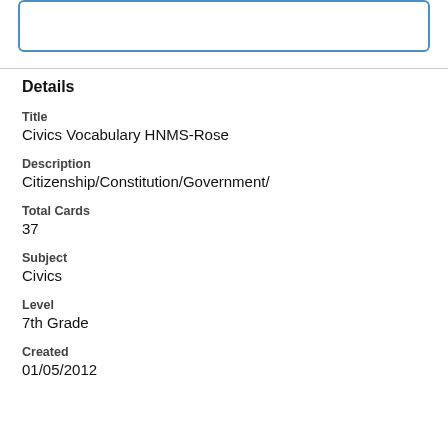[Figure (other): Blue rounded rectangle input/search box at the top of the page]
Details
Title
Civics Vocabulary HNMS-Rose
Description
Citizenship/Constitution/Government/
Total Cards
37
Subject
Civics
Level
7th Grade
Created
01/05/2012